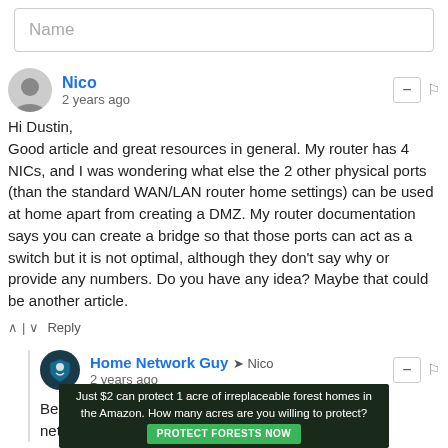Name
Nico
2 years ago
Hi Dustin,
Good article and great resources in general. My router has 4 NICs, and I was wondering what else the 2 other physical ports (than the standard WAN/LAN router home settings) can be used at home apart from creating a DMZ. My router documentation says you can create a bridge so that those ports can act as a switch but it is not optimal, although they don't say why or provide any numbers. Do you have any idea? Maybe that could be another article.
Reply
Home Network Guy → Nico
2 years ago
Besides the fact you can create 3 separate physical networks
[Figure (photo): Advertisement banner: forest/Amazon conservation ad. Text: 'Just $2 can protect 1 acre of irreplaceable forest homes in the Amazon. How many acres are you willing to protect?' with a green 'PROTECT FORESTS NOW' button.]